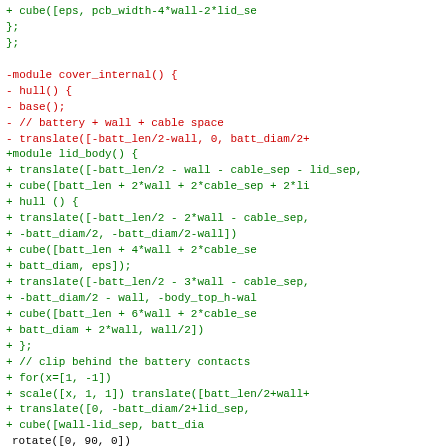[Figure (screenshot): A code diff snippet showing OpenSCAD module definitions with removed lines in red (prefixed with -) and added lines in green (prefixed with +). Contains modules cover_internal() and lid_body() with 3D geometry operations.]